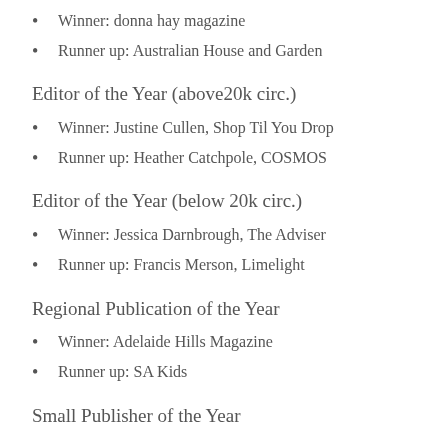Winner: donna hay magazine
Runner up: Australian House and Garden
Editor of the Year (above20k circ.)
Winner: Justine Cullen, Shop Til You Drop
Runner up: Heather Catchpole, COSMOS
Editor of the Year (below 20k circ.)
Winner: Jessica Darnbrough, The Adviser
Runner up: Francis Merson, Limelight
Regional Publication of the Year
Winner: Adelaide Hills Magazine
Runner up: SA Kids
Small Publisher of the Year